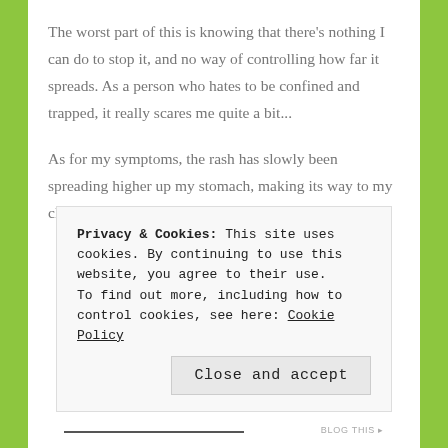The worst part of this is knowing that there's nothing I can do to stop it, and no way of controlling how far it spreads. As a person who hates to be confined and trapped, it really scares me quite a bit...
As for my symptoms, the rash has slowly been spreading higher up my stomach, making its way to my chest and down past my hips to my upper thighs.
Privacy & Cookies: This site uses cookies. By continuing to use this website, you agree to their use.
To find out more, including how to control cookies, see here: Cookie Policy
BLOG THIS ▸